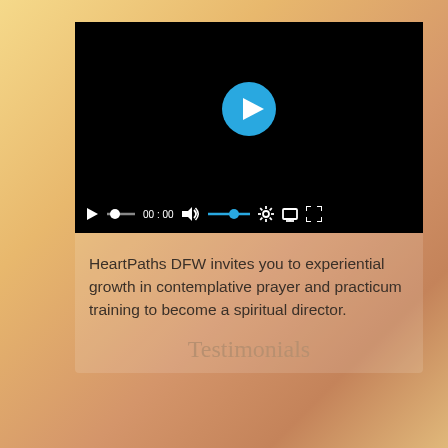[Figure (screenshot): Video player screenshot showing a black video screen with a large circular blue play button in the center, and a control bar at the bottom with play button, progress dot, time display '00:00', volume icon, blue volume slider, settings gear icon, pop-out icon, and fullscreen icon.]
HeartPaths DFW invites you to experiential growth in contemplative prayer and practicum training to become a spiritual director.
Testimonials